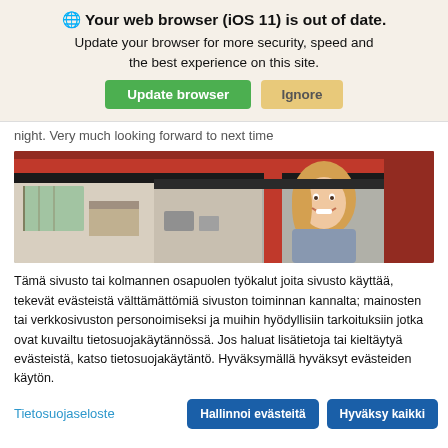🌐 Your web browser (iOS 11) is out of date. Update your browser for more security, speed and the best experience on this site.
night. Very much looking forward to next time
[Figure (photo): A smiling woman with long blonde hair sitting inside a red camper van or motorhome, viewed through the open side door. Interior of camper visible with curtains and furniture.]
Tämä sivusto tai kolmannen osapuolen työkalut joita sivusto käyttää, tekevät evästeistä välttämättömiä sivuston toiminnan kannalta; mainosten tai verkkosivuston personoimiseksi ja muihin hyödyllisiin tarkoituksiin jotka ovat kuvailtu tietosuojakäytännössä. Jos haluat lisätietoja tai kieltäytyä evästeistä, katso tietosuojakäytäntö. Hyväksymällä hyväksyt evästeiden käytön.
Tietosuojaseloste
Hallinnoi evästeitä
Hyväksy kaikki